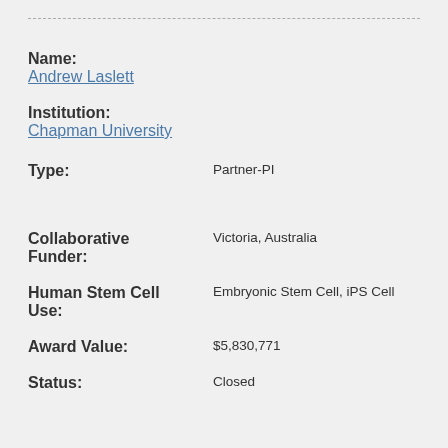Name: Andrew Laslett
Institution: Chapman University
Type: Partner-PI
Collaborative Funder: Victoria, Australia
Human Stem Cell Use: Embryonic Stem Cell, iPS Cell
Award Value: $5,830,771
Status: Closed